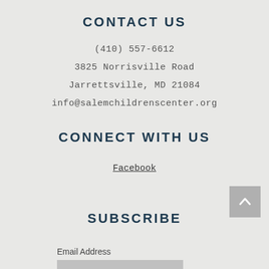CONTACT US
(410) 557-6612
3825 Norrisville Road
Jarrettsville, MD 21084
info@salemchildrenscenter.org
CONNECT WITH US
Facebook
SUBSCRIBE
Email Address